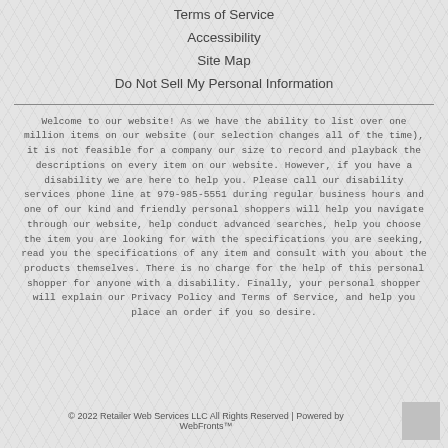Terms of Service
Accessibility
Site Map
Do Not Sell My Personal Information
Welcome to our website! As we have the ability to list over one million items on our website (our selection changes all of the time), it is not feasible for a company our size to record and playback the descriptions on every item on our website. However, if you have a disability we are here to help you. Please call our disability services phone line at 979-985-5551 during regular business hours and one of our kind and friendly personal shoppers will help you navigate through our website, help conduct advanced searches, help you choose the item you are looking for with the specifications you are seeking, read you the specifications of any item and consult with you about the products themselves. There is no charge for the help of this personal shopper for anyone with a disability. Finally, your personal shopper will explain our Privacy Policy and Terms of Service, and help you place an order if you so desire.
© 2022 Retailer Web Services LLC All Rights Reserved | Powered by WebFronts™